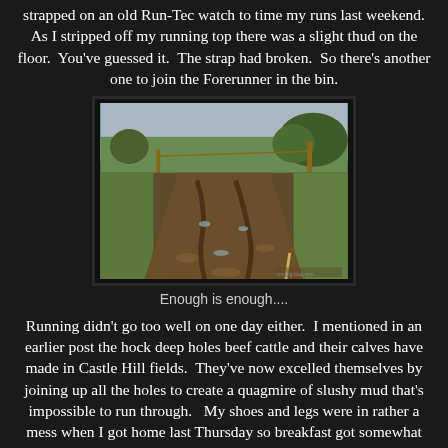strapped on an old Run-Tec watch to time my runs last weekend. As I stripped off my running top there was a slight thud on the floor. You've guessed it. The strap had broken. So there's another one to join the Forerunner in the bin.
[Figure (photo): A muddy field path/track with deep ruts and churned-up slushy mud, surrounded by grass fields and trees in the background under an overcast sky.]
Enough is enough....
Running didn't go too well on one day either. I mentioned in an earlier post the hock deep holes beef cattle and their calves have made in Castle Hill fields. They've now excelled themselves by joining up all the holes to create a quagmire of slushy mud that's impossible to run through. My shoes and legs were in rather a mess when I got home last Thursday so breakfast got somewhat